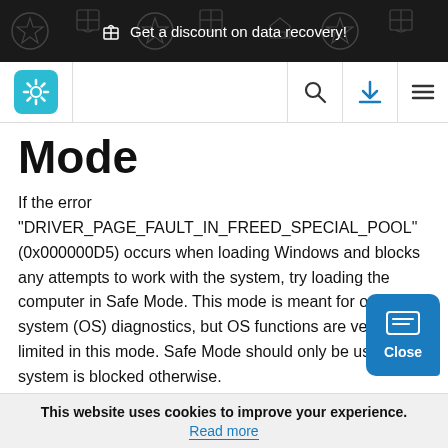🎁 Get a discount on data recovery!
[Figure (logo): Website logo with gear icon in teal square, search icon, download icon, and hamburger menu in navigation bar]
Mode
If the error "DRIVER_PAGE_FAULT_IN_FREED_SPECIAL_POOL" (0x000000D5) occurs when loading Windows and blocks any attempts to work with the system, try loading the computer in Safe Mode. This mode is meant for operating system (OS) diagnostics, but OS functions are very limited in this mode. Safe Mode should only be used if the system is blocked otherwise.
This website uses cookies to improve your experience. Read more